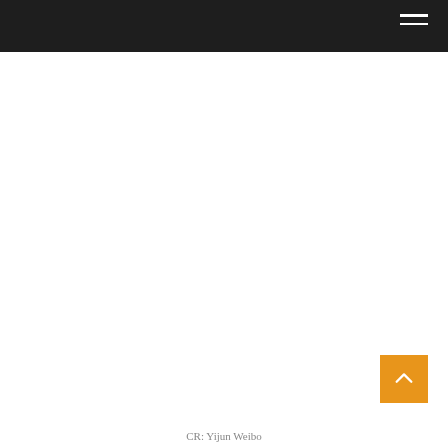[Figure (other): Orange back-to-top button with upward chevron arrow]
CR: Yijun Weibo